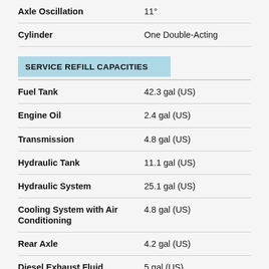| Property | Value |
| --- | --- |
| Axle Oscillation | 11° |
| Cylinder | One Double-Acting |
| SERVICE REFILL CAPACITIES |  |
| Fuel Tank | 42.3 gal (US) |
| Engine Oil | 2.4 gal (US) |
| Transmission | 4.8 gal (US) |
| Hydraulic Tank | 11.1 gal (US) |
| Hydraulic System | 25.1 gal (US) |
| Cooling System with Air Conditioning | 4.8 gal (US) |
| Rear Axle | 4.2 gal (US) |
| Diesel Exhaust Fluid | 5 gal (US) |